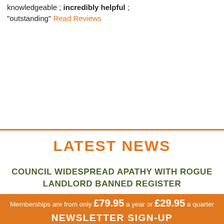knowledgeable ; incredibly helpful ; "outstanding" Read Reviews
LATEST NEWS
COUNCIL WIDESPREAD APATHY WITH ROGUE LANDLORD BANNED REGISTER
READ MORE
Memberships are from only £79.95 a year or £29.95 a quarter
NEWSLETTER SIGN-UP